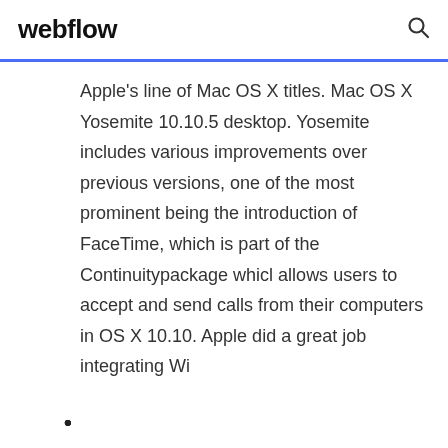webflow
Apple's line of Mac OS X titles. Mac OS X Yosemite 10.10.5 desktop. Yosemite includes various improvements over previous versions, one of the most prominent being the introduction of FaceTime, which is part of the Continuitypackage whicl allows users to accept and send calls from their computers in OS X 10.10. Apple did a great job integrating Wi